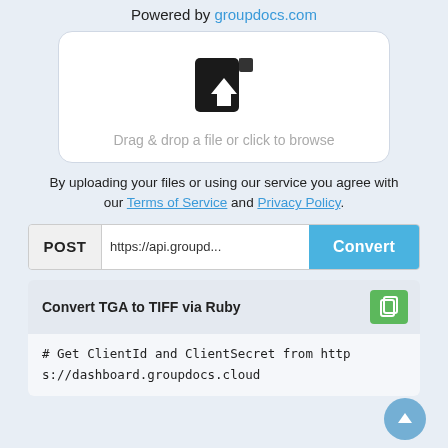Powered by groupdocs.com
[Figure (illustration): File upload drop zone with upload icon and text: Drag & drop a file or click to browse]
By uploading your files or using our service you agree with our Terms of Service and Privacy Policy.
POST https://api.groupdocs... Convert
Convert TGA to TIFF via Ruby
# Get ClientId and ClientSecret from https://dashboard.groupdocs.cloud